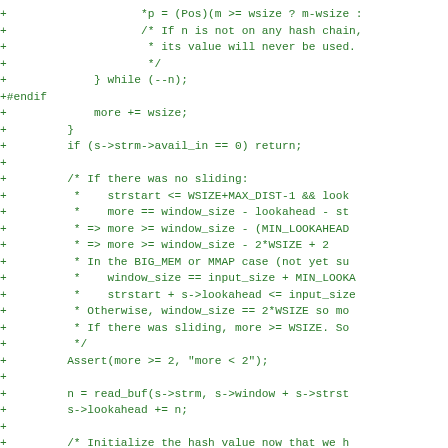[Figure (other): Diff/patch code snippet showing added lines (prefixed with +) of C source code in green monospace font, related to zlib sliding window and hash chain logic.]